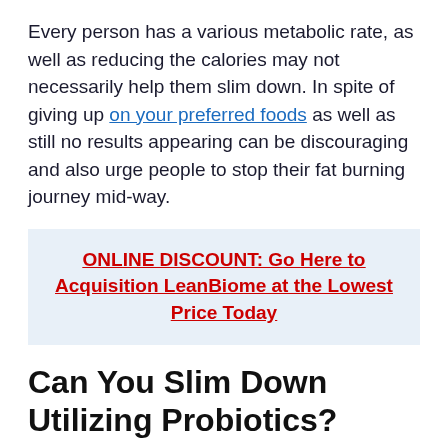Every person has a various metabolic rate, as well as reducing the calories may not necessarily help them slim down. In spite of giving up on your preferred foods as well as still no results appearing can be discouraging and also urge people to stop their fat burning journey mid-way.
ONLINE DISCOUNT: Go Here to Acquisition LeanBiome at the Lowest Price Today
Can You Slim Down Utilizing Probiotics?
Probiotics are living microorganisms that help in digestion, boost immunity and govern all body